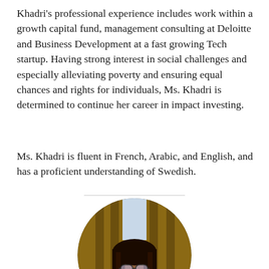Khadri's professional experience includes work within a growth capital fund, management consulting at Deloitte and Business Development at a fast growing Tech startup. Having strong interest in social challenges and especially alleviating poverty and ensuring equal chances and rights for individuals, Ms. Khadri is determined to continue her career in impact investing.
Ms. Khadri is fluent in French, Arabic, and English, and has a proficient understanding of Swedish.
[Figure (photo): Circular portrait photo of Ms. Khadri, a young woman with long braids and round sunglasses, smiling, wearing a dark navy top, photographed outdoors in front of a wooden railing structure.]